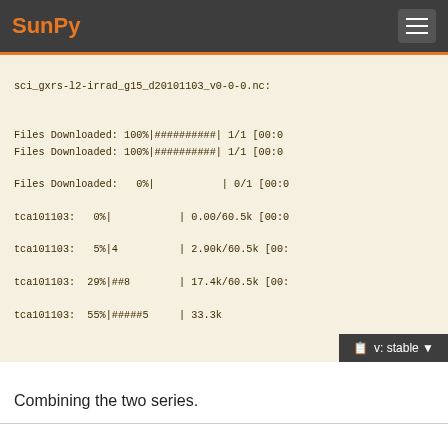SunPy
sci_gxrs-l2-irrad_g15_d20101103_v0-0-0.nc:

Files Downloaded: 100%|##########| 1/1 [00:0
Files Downloaded: 100%|##########| 1/1 [00:0

Files Downloaded:   0%|           | 0/1 [00:0

tca101103:   0%|           | 0.00/60.5k [00:0

tca101103:   5%|4          | 2.90k/60.5k [00:

tca101103:  29%|##8        | 17.4k/60.5k [00:

tca101103:  55%|#####5     | 33.3k...
Combining the two series.